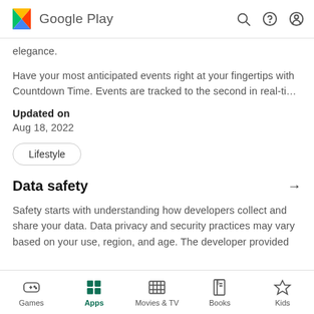Google Play
elegance.
Have your most anticipated events right at your fingertips with Countdown Time. Events are tracked to the second in real-ti…
Updated on
Aug 18, 2022
Lifestyle
Data safety
Safety starts with understanding how developers collect and share your data. Data privacy and security practices may vary based on your use, region, and age. The developer provided
Games  Apps  Movies & TV  Books  Kids